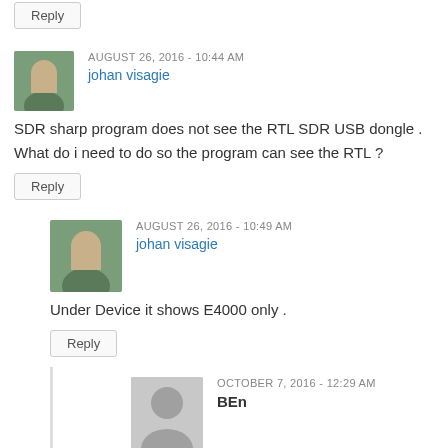Reply
AUGUST 26, 2016 - 10:44 AM
johan visagie
SDR sharp program does not see the RTL SDR USB dongle . What do i need to do so the program can see the RTL ?
Reply
AUGUST 26, 2016 - 10:49 AM
johan visagie
Under Device it shows E4000 only .
Reply
OCTOBER 7, 2016 - 12:29 AM
BEn
Hi mate, I think I had this error too. Try running the .bat files (I think it was the install one) again and after that, try re-installing the drivers on the dongle with Zadig. It stopped my "no device" error.